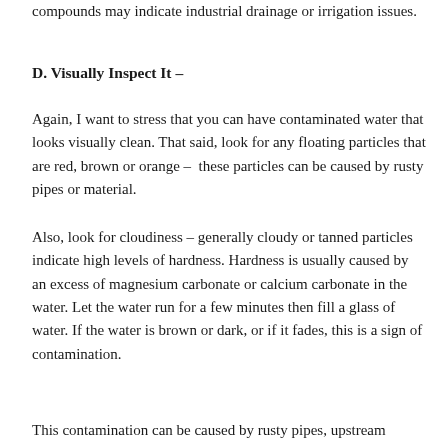compounds may indicate industrial drainage or irrigation issues.
D. Visually Inspect It –
Again, I want to stress that you can have contaminated water that looks visually clean. That said, look for any floating particles that are red, brown or orange – these particles can be caused by rusty pipes or material.
Also, look for cloudiness – generally cloudy or tanned particles indicate high levels of hardness. Hardness is usually caused by an excess of magnesium carbonate or calcium carbonate in the water. Let the water run for a few minutes then fill a glass of water. If the water is brown or dark, or if it fades, this is a sign of contamination.
This contamination can be caused by rusty pipes, upstream